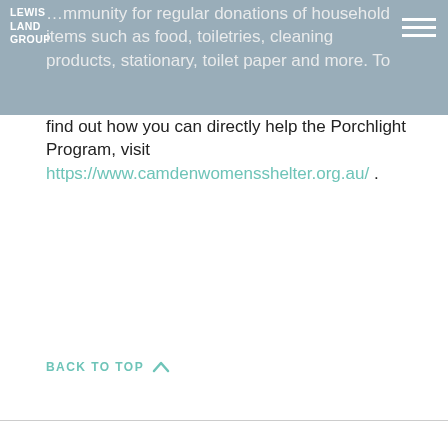LEWIS LAND GROUP
community for regular donations of household items such as food, toiletries, cleaning products, stationary, toilet paper and more. To find out how you can directly help the Porchlight Program, visit https://www.camdenwomensshelter.org.au/ .
BACK TO TOP ^